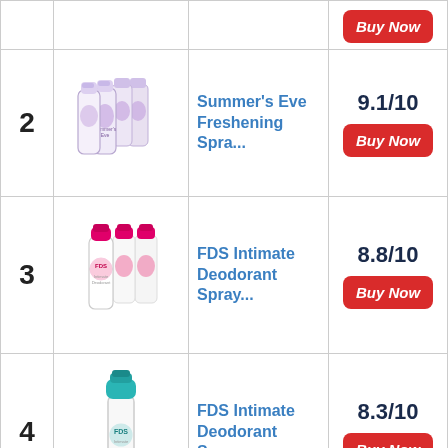| # | Image | Product | Score/Action |
| --- | --- | --- | --- |
|  |  |  | Buy Now (red button - top cut off) |
| 2 | [Summer's Eve product image] | Summer's Eve Freshening Spra... | 9.1/10
Buy Now |
| 3 | [FDS Intimate Deodorant Spray image] | FDS Intimate Deodorant Spray... | 8.8/10
Buy Now |
| 4 | [FDS Intimate Deodorant Spray single image] | FDS Intimate Deodorant Spray... | 8.3/10
Buy Now |
|  | [Vagisil product image] | Vagisil Odor Block... | 8.8/10 |